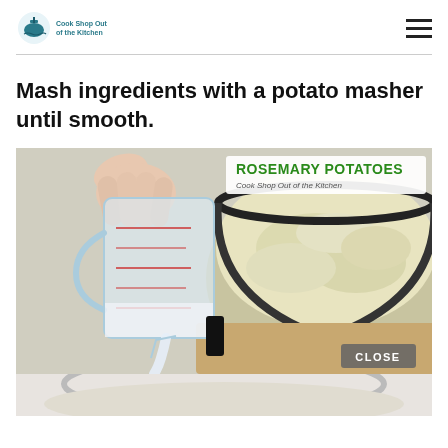Cook Shop Out of the Kitchen
Mash ingredients with a potato masher until smooth.
[Figure (photo): A hand pouring milk from a measuring cup into a bowl of mashed rosemary potatoes. The image has a banner reading 'ROSEMARY POTATOES - Cook Shop Out of the Kitchen' in the upper right corner. A 'CLOSE' button appears in the lower right.]